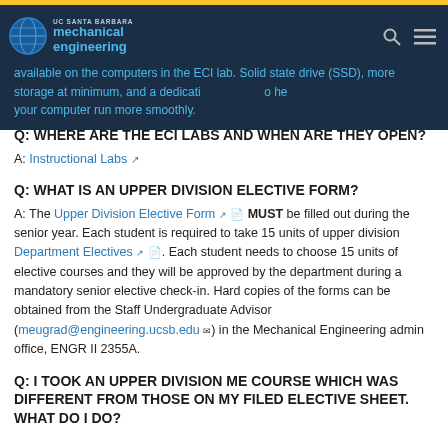UC Santa Barbara Mechanical Engineering
available on the computers in the ECI lab. Solid state drive (SSD), more storage at minimum, and a dedicated GPU to help your computer run more smoothly.
Q: WHERE ARE THE ECI LABS AND WHEN ARE THEY OPEN?
A: Instructional Labs
Q: WHAT IS AN UPPER DIVISION ELECTIVE FORM?
A: The Upper Division Elective Form MUST be filled out during the senior year. Each student is required to take 15 units of upper division Department Electives. Each student needs to choose 15 units of elective courses and they will be approved by the department during a mandatory senior elective check-in. Hard copies of the forms can be obtained from the Staff Undergraduate Advisor (meugrad@engineering.ucsb.edu) in the Mechanical Engineering admin office, ENGR II 2355A.
Q: I TOOK AN UPPER DIVISION ME COURSE WHICH WAS DIFFERENT FROM THOSE ON MY FILED ELECTIVE SHEET. WHAT DO I DO?